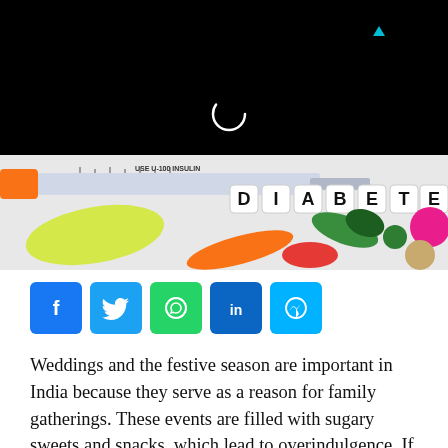[Figure (photo): A diabetes-themed photo showing an insulin syringe, letter tiles spelling 'DIABETES', and colorful pills/capsules on a white surface. Upper portion is black with a loading circle and small cyan triangle icon.]
[Figure (infographic): Social media sharing buttons: Facebook (blue), Twitter (blue), WhatsApp (green), LinkedIn (blue), Messenger (light blue)]
Weddings and the festive season are important in India because they serve as a reason for family gatherings. These events are filled with sugary sweets and snacks, which lead to overindulgence. If you have diabetes, the